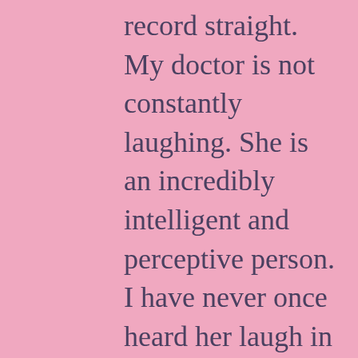record straight. My doctor is not constantly laughing. She is an incredibly intelligent and perceptive person. I have never once heard her laugh in an inappropriate situation. She,